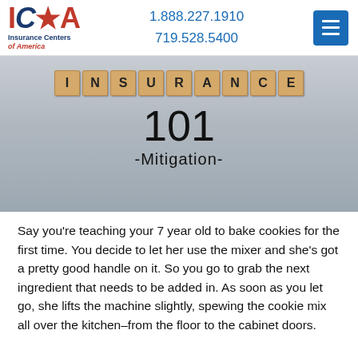[Figure (logo): ICA Insurance Centers of America logo with red and blue text]
1.888.227.1910
719.528.5400
[Figure (photo): Scrabble tiles spelling INSURANCE above large text '101' and '-Mitigation-' on a white wood background]
Say you’re teaching your 7 year old to bake cookies for the first time. You decide to let her use the mixer and she’s got a pretty good handle on it. So you go to grab the next ingredient that needs to be added in. As soon as you let go, she lifts the machine slightly, spewing the cookie mix all over the kitchen–from the floor to the cabinet doors.